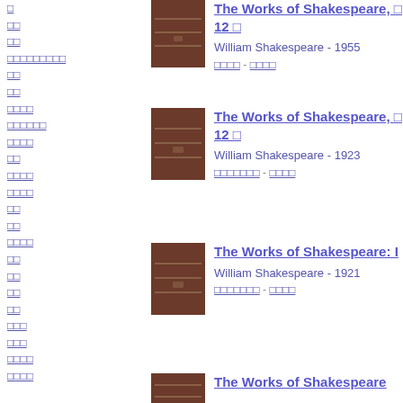□
□□
□□
□□□□□□□□□
□□
□□
□□□□
□□□□□□
□□□□
□□
□□□□
□□□□
□□
□□
□□□□
□□
□□
□□
□□
□□□
□□□
□□□□
□□□□
[Figure (photo): Book cover of The Works of Shakespeare volume 12, 1955 edition]
The Works of Shakespeare, □ 12 □
William Shakespeare - 1955
□□□□ - □□□□
[Figure (photo): Book cover of The Works of Shakespeare volume 12, 1923 edition]
The Works of Shakespeare, □ 12 □
William Shakespeare - 1923
□□□□□□□ - □□□□
[Figure (photo): Book cover of The Works of Shakespeare: I, 1921 edition]
The Works of Shakespeare: I
William Shakespeare - 1921
□□□□□□□ - □□□□
[Figure (photo): Book cover of The Works of Shakespeare]
The Works of Shakespeare